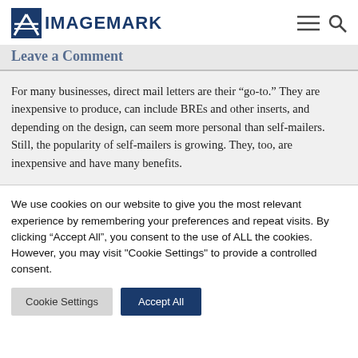ImageMark
Leave a Comment
For many businesses, direct mail letters are their “go-to.” They are inexpensive to produce, can include BREs and other inserts, and depending on the design, can seem more personal than self-mailers. Still, the popularity of self-mailers is growing. They, too, are inexpensive and have many benefits.
We use cookies on our website to give you the most relevant experience by remembering your preferences and repeat visits. By clicking “Accept All”, you consent to the use of ALL the cookies. However, you may visit "Cookie Settings" to provide a controlled consent.